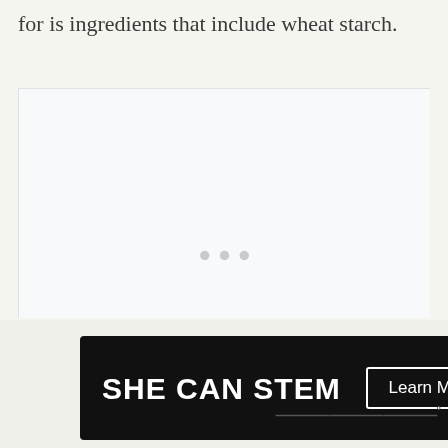for is ingredients that include wheat starch.
[Figure (screenshot): Loading/placeholder area with three gray dots centered in a light-colored box, indicating content is loading]
[Figure (infographic): UI sidebar with up-arrow button, count 155, heart/like button, and teal search button on right side]
[Figure (other): Advertisement banner: SHE CAN STEM with Learn More button, STEM logo, and Ad Council logo on black background]